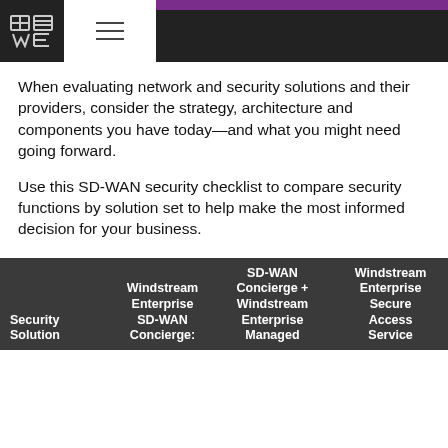[Figure (logo): Windstream Enterprise logo (WE) in white outline on dark background with hamburger menu icon]
When evaluating network and security solutions and their providers, consider the strategy, architecture and components you have today—and what you might need going forward.
Use this SD-WAN security checklist to compare security functions by solution set to help make the most informed decision for your business.
| Security Solution | Windstream Enterprise SD-WAN Concierge: | SD-WAN Concierge + Windstream Enterprise Managed Network | Windstream Enterprise Secure Access Service |
| --- | --- | --- | --- |